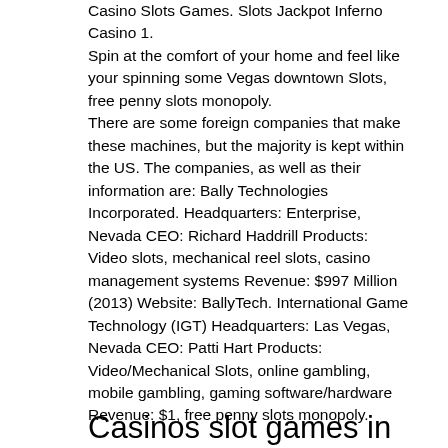Casino Slots Games. Slots Jackpot Inferno Casino 1. Spin at the comfort of your home and feel like your spinning some Vegas downtown Slots, free penny slots monopoly. There are some foreign companies that make these machines, but the majority is kept within the US. The companies, as well as their information are: Bally Technologies Incorporated. Headquarters: Enterprise, Nevada CEO: Richard Haddrill Products: Video slots, mechanical reel slots, casino management systems Revenue: $997 Million (2013) Website: BallyTech. International Game Technology (IGT) Headquarters: Las Vegas, Nevada CEO: Patti Hart Products: Video/Mechanical Slots, online gambling, mobile gambling, gaming software/hardware Revenue: $1, free penny slots monopoly.
Casinos slot games in